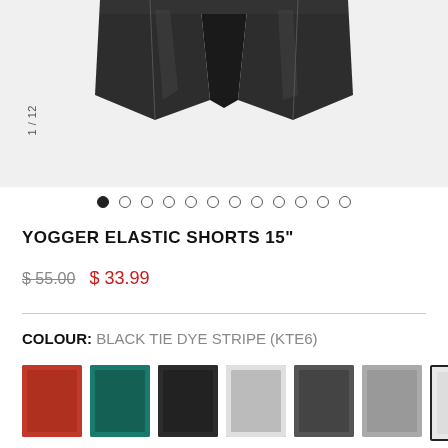[Figure (photo): Product photo of black athletic shorts (Yogger Elastic Shorts 15") on a gray background, cropped to show the waistband and upper portion. Image counter '1 / 12' shown vertically on the left side.]
1 / 12
[Figure (other): Image carousel navigation dots: 12 dots total, first dot filled/active, rest are empty circles.]
YOGGER ELASTIC SHORTS 15"
$ 55.00  $ 33.99
COLOUR: BLACK TIE DYE STRIPE (KTE6)
[Figure (photo): Row of 7 color variant thumbnail images for the shorts: red, teal, dark gray/black, heather gray, dark gray, gray, and white/light gray (currently selected, shown with black border).]